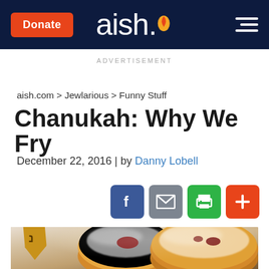Donate | aish. | ☰
ADVERTISEMENT
aish.com > Jewlarious > Funny Stuff
Chanukah: Why We Fry
December 22, 2016 | by Danny Lobell
[Figure (other): Social sharing icons: Facebook (blue), Email (grey), Print (green), Plus/Add (orange-red)]
[Figure (photo): Photo of Chanukah sufganiyot (jelly donuts) dusted with powdered sugar, with a wooden dreidel in the foreground]